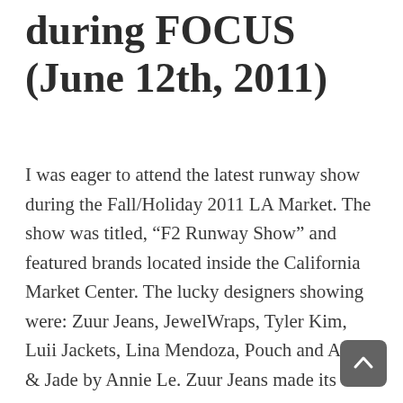during FOCUS (June 12th, 2011)
I was eager to attend the latest runway show during the Fall/Holiday 2011 LA Market. The show was titled, “F2 Runway Show” and featured brands located inside the California Market Center. The lucky designers showing were: Zuur Jeans, JewelWraps, Tyler Kim, Luii Jackets, Lina Mendoza, Pouch and Annie & Jade by Annie Le. Zuur Jeans made its debut during LA Fashion Week in March 2011 and are designed by Miguel Estrada right here in good ‘ole LA. Zuur Jeans is known for the